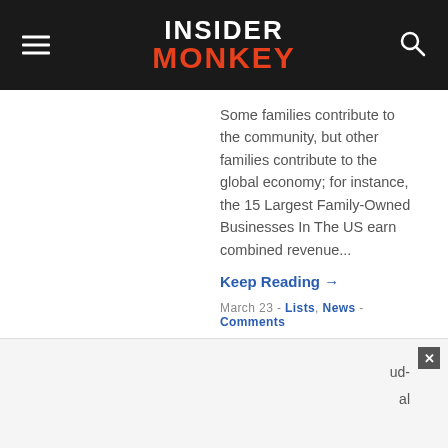INSIDER MONKEY
Some families contribute to the community, but other families contribute to the global economy; for instance, the 15 Largest Family-Owned Businesses In The US earn combined revenue...
Keep Reading →
March 23 - Lists, News - Comments
[Figure (photo): Dark thumbnail image of a person at a computer, used for the enterprise software article]
10 Biggest Enterprise Software Companies In The World
Enterprise software... ud- al
[Figure (other): Advertisement overlay with close button (x)]